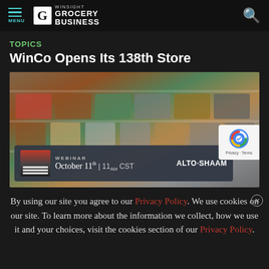MENU | WINSIGHT GROCERY BUSINESS
TOPICS
WinCo Opens Its 138th Store
[Figure (photo): Deli/prepared foods display case with packaged food items, overlaid with a webinar advertisement banner: 'WEBINAR October 11th | 11am CST ALTO-SHAAM' and a reCAPTCHA privacy badge]
By using our site you agree to our Privacy Policy. We use cookies on our site. To learn more about the information we collect, how we use it and your choices, visit the cookies section of our Privacy Policy.